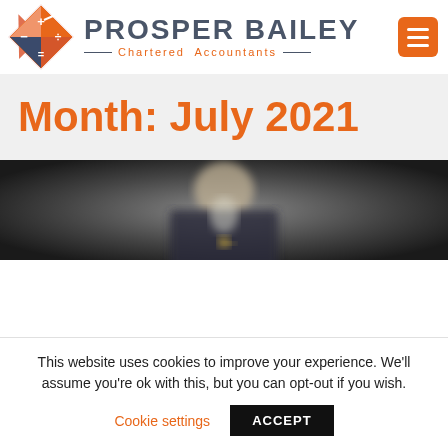[Figure (logo): Prosper Bailey Chartered Accountants logo — diamond-shaped icon with math symbols (+, -, ÷, =) and an arrow, in orange and dark navy, with company name and tagline]
Month: July 2021
[Figure (photo): Blurred photograph of a person in a dark suit, business context]
This website uses cookies to improve your experience. We'll assume you're ok with this, but you can opt-out if you wish.
Cookie settings   ACCEPT